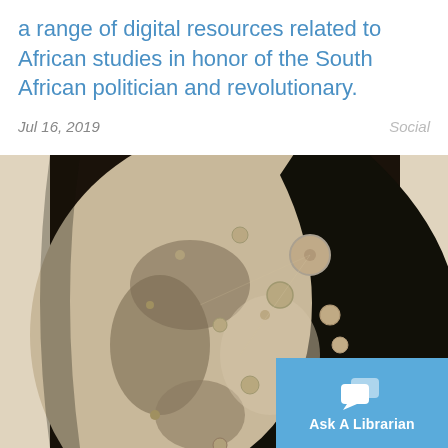a range of digital resources related to African studies in honor of the South African politician and revolutionary.
Jul 16, 2019   Social
[Figure (photo): Vintage sepia-toned photograph of the Moon showing craters and surface detail, displayed against a tan/cream border background. An 'Ask A Librarian' chat button overlay appears in the bottom-right corner.]